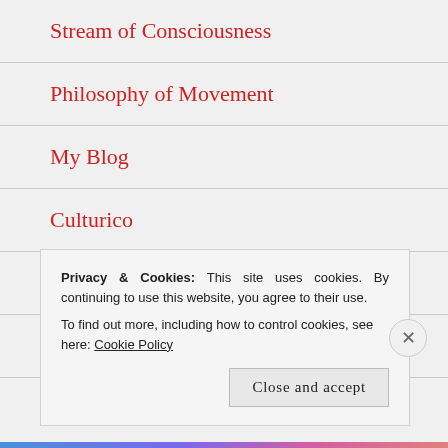Stream of Consciousness
Philosophy of Movement
My Blog
Culturico
bluebrightly
Pointless Overthinking
The Hype Theory
Privacy & Cookies: This site uses cookies. By continuing to use this website, you agree to their use.
To find out more, including how to control cookies, see here: Cookie Policy
Close and accept